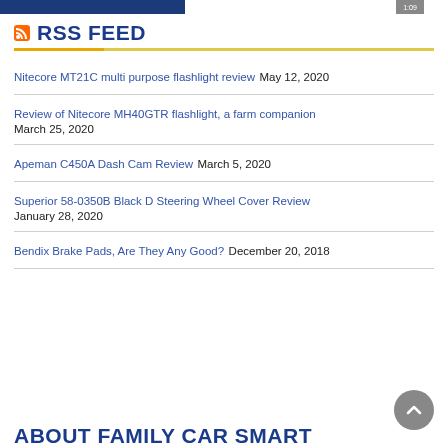[Figure (photo): Top image bar with dark blue background, partial view of a page image, and a small grey badge/button top right]
RSS FEED
Nitecore MT21C multi purpose flashlight review May 12, 2020
Review of Nitecore MH40GTR flashlight, a farm companion March 25, 2020
Apeman C450A Dash Cam Review March 5, 2020
Superior 58-0350B Black D Steering Wheel Cover Review January 28, 2020
Bendix Brake Pads, Are They Any Good? December 20, 2018
ABOUT FAMILY CAR SMART